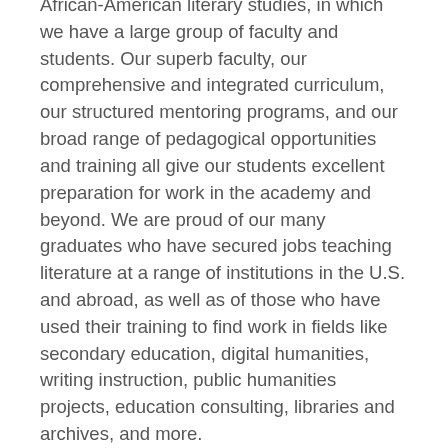African-American literary studies, in which we have a large group of faculty and students. Our superb faculty, our comprehensive and integrated curriculum, our structured mentoring programs, and our broad range of pedagogical opportunities and training all give our students excellent preparation for work in the academy and beyond. We are proud of our many graduates who have secured jobs teaching literature at a range of institutions in the U.S. and abroad, as well as of those who have used their training to find work in fields like secondary education, digital humanities, writing instruction, public humanities projects, education consulting, libraries and archives, and more.
Our curriculum provides rigorous training in literary history and form. At the same time, we offer courses in the general area of cultural studies, as well as those that engage in historical and current debates about class, race, gender, and sexuality. Offerings are balanced from year to year to make sure students have access to the courses they most need. Students also enjoy the opportunity to